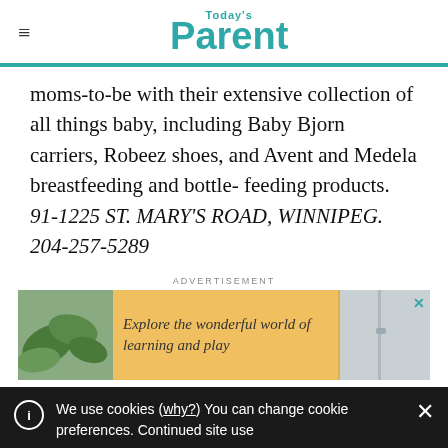Today's Parent
moms-to-be with their extensive collection of all things baby, including Baby Bjorn carriers, Robeez shoes, and Avent and Medela breastfeeding and bottle- feeding products. 91-1225 ST. MARY'S ROAD, WINNIPEG. 204-257-5289
ADVERTISEMENT
[Figure (other): Advertisement banner: Explore the wonderful world of learning and play, with plant imagery on left and white door/wall on right]
We use cookies (why?) You can change cookie preferences. Continued site use